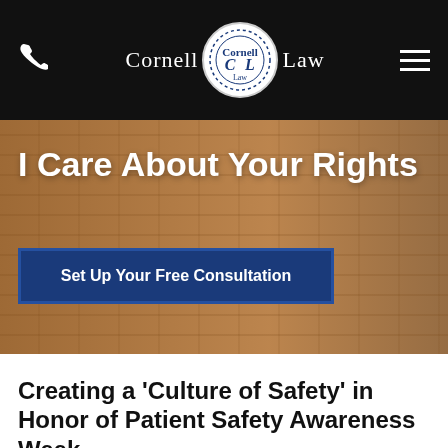[Figure (screenshot): Cornell Law website header with black background, phone icon on left, Cornell Law logo in center, hamburger menu on right]
[Figure (photo): Hero section with brick wall background showing a person at a desk with laptop, overlaid with bold white text 'I Care About Your Rights' and a dark blue call-to-action button]
I Care About Your Rights
Set Up Your Free Consultation
Creating a 'Culture of Safety' in Honor of Patient Safety Awareness Week